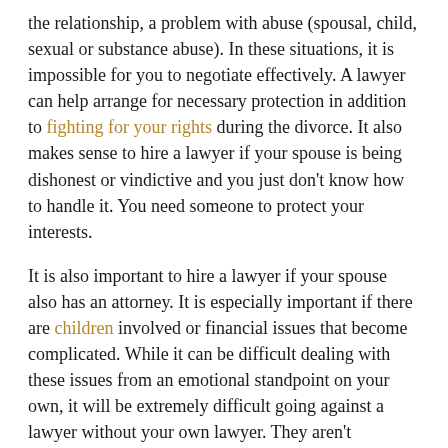the relationship, a problem with abuse (spousal, child, sexual or substance abuse). In these situations, it is impossible for you to negotiate effectively. A lawyer can help arrange for necessary protection in addition to fighting for your rights during the divorce. It also makes sense to hire a lawyer if your spouse is being dishonest or vindictive and you just don't know how to handle it. You need someone to protect your interests.
It is also important to hire a lawyer if your spouse also has an attorney. It is especially important if there are children involved or financial issues that become complicated. While it can be difficult dealing with these issues from an emotional standpoint on your own, it will be extremely difficult going against a lawyer without your own lawyer. They aren't emotional parties in the case and will fight for your rights and benefits.
When trying to find the right Northeast Philadelphia lawyer for yourself, consider Martins Mill Legal Center. Leo Flynn and his staff have been handling cases of divorce for many years and are experts in their field. They will sit with you to understand exactly what kind of